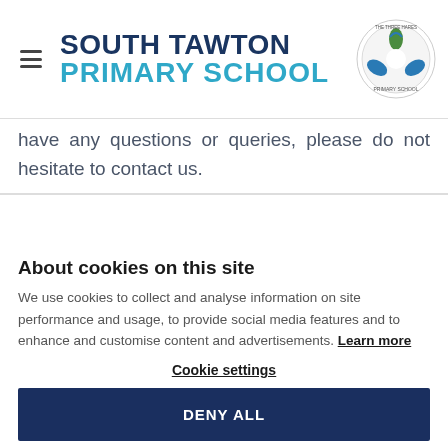South Tawton Primary School
have any questions or queries, please do not hesitate to contact us.
About cookies on this site
We use cookies to collect and analyse information on site performance and usage, to provide social media features and to enhance and customise content and advertisements. Learn more
Cookie settings
DENY ALL
ALLOW ALL COOKIES